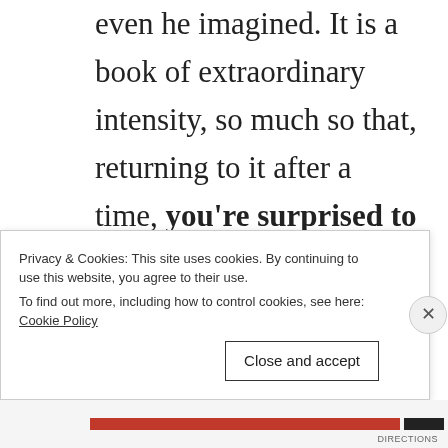even he imagined. It is a book of extraordinary intensity, so much so that, returning to it after a time, you're surprised to discover that what it most resembles is a nightmare – a momentary nocturnal vision that transforms the ordinary
Privacy & Cookies: This site uses cookies. By continuing to use this website, you agree to their use.
To find out more, including how to control cookies, see here: Cookie Policy
Close and accept